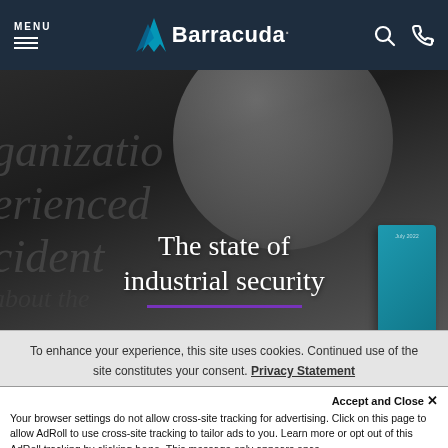MENU | Barracuda. | [search icon] [phone icon]
[Figure (screenshot): Barracuda website hero image showing an open book with blurred text (organization, experienced, incident) overlaid with title text 'The state of industrial security' with a purple underline, and a teal book cover visible on the right.]
The state of industrial security
To enhance your experience, this site uses cookies. Continued use of the site constitutes your consent. Privacy Statement
Accept and Close ✕
Your browser settings do not allow cross-site tracking for advertising. Click on this page to allow AdRoll to use cross-site tracking to tailor ads to you. Learn more or opt out of this AdRoll tracking by clicking here. This message only appears once.